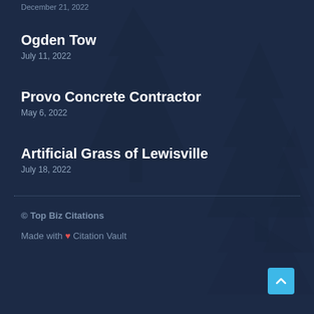December 21, 2022
Ogden Tow
July 11, 2022
Provo Concrete Contractor
May 6, 2022
Artificial Grass of Lewisville
July 18, 2022
© Top Biz Citations
Made with ❤ Citation Vault